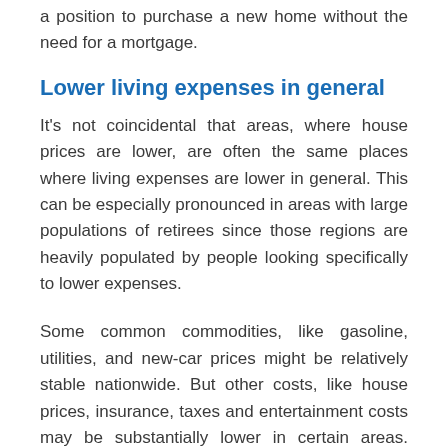a position to purchase a new home without the need for a mortgage.
Lower living expenses in general
It's not coincidental that areas, where house prices are lower, are often the same places where living expenses are lower in general. This can be especially pronounced in areas with large populations of retirees since those regions are heavily populated by people looking specifically to lower expenses.
Some common commodities, like gasoline, utilities, and new-car prices might be relatively stable nationwide. But other costs, like house prices, insurance, taxes and entertainment costs may be substantially lower in certain areas. Lower expenses will enable retirement savings to